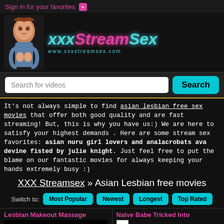Sign in for your favorites +
[Figure (logo): xxxStreamSex website logo with animated mascot character and teal/pink stylized text. URL: www.xxxstreamsex.com]
Search for videos
It's not always simple to find asian lesbian free sex movies that offer both good quality and are fast streaming! But, this is why you have us:) We are here to satisfy your highest demands . Here are some stream sex favorites: asian nuru girl lovers and analacrobats ava devine fisted by julie knight. Just feel free to put the blame on our fantastic movies for always keeping your hands extremely busy :)
XXX Streamsex » Asian Lesbian free movies
Switch to: Most Popular Newest Longest Top Rated
Lesbian Makeout Massage
Naïve Babe Tricked Into
Duration: 41:00Added: 5 years ago Free Movies: anal asian blowjob butt